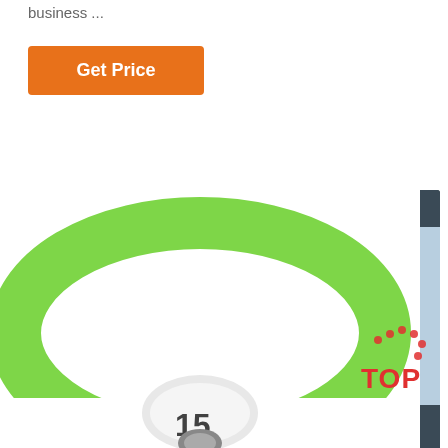business ...
Get Price
[Figure (photo): Customer support agent widget with '24/7 Online' header, photo of smiling woman with headset, 'Click here for free chat!' text, and orange QUOTATION button]
[Figure (photo): Green silicone RFID wristband photographed from above, showing a white oval NFC chip inlay in the center with partial number visible]
[Figure (logo): TOP badge logo with red dotted house/arrow icon above red TOP text]